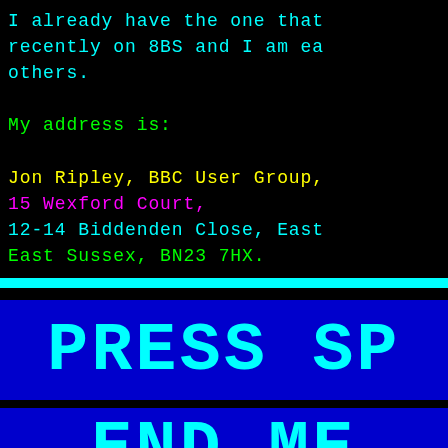I already have the one that recently on 8BS and I am ea others.
My address is:
Jon Ripley, BBC User Group, 15 Wexford Court, 12-14 Biddenden Close, East East Sussex, BN23 7HX.
Or telephone: 01323 768421
[Figure (screenshot): Cyan horizontal divider bar]
[Figure (screenshot): Blue box with cyan bold text: PRESS SP]
[Figure (screenshot): Blue box with cyan bold text: END ME (partially visible)]